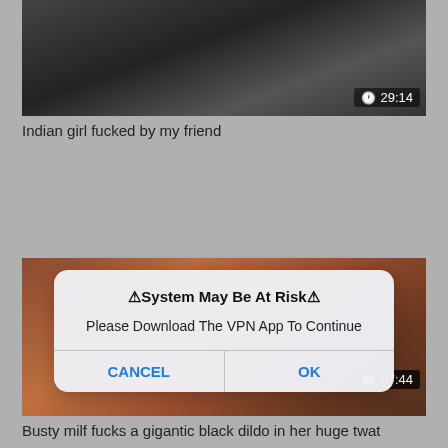[Figure (screenshot): Video thumbnail showing grayscale intimate content with timer badge showing 29:14]
Indian girl fucked by my friend
[Figure (screenshot): Video thumbnail showing reddish-toned intimate content with timer badge showing 07:44, overlaid with a system alert dialog]
⚠System May Be At Risk⚠
Please Download The VPN App To Continue
CANCEL   OK
Busty milf fucks a gigantic black dildo in her huge twat